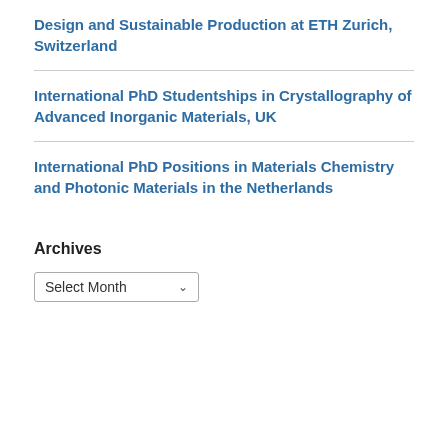Design and Sustainable Production at ETH Zurich, Switzerland
International PhD Studentships in Crystallography of Advanced Inorganic Materials, UK
International PhD Positions in Materials Chemistry and Photonic Materials in the Netherlands
Archives
Select Month